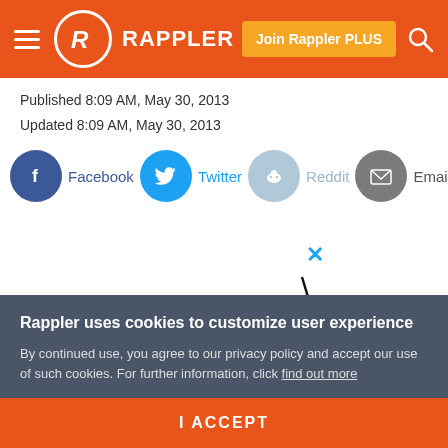Rappler — Join Rappler PLUS
Published 8:09 AM, May 30, 2013
Updated 8:09 AM, May 30, 2013
[Figure (other): Social share buttons: Facebook, Twitter, Reddit, Email]
[Figure (logo): GRWM logo in large serif text]
Rappler uses cookies to customize user experience
By continued use, you agree to our privacy policy and accept our use of such cookies. For further information, click find out more
I ACCEPT